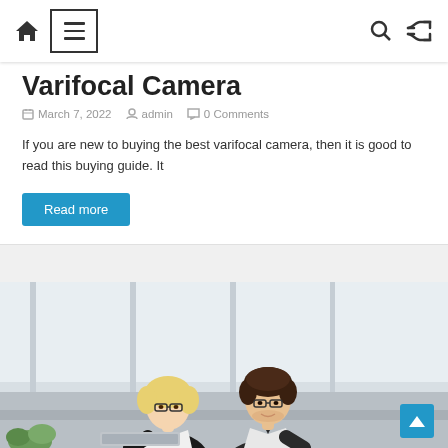Home | Menu | Search | Shuffle
Varifocal Camera
March 7, 2022  admin  0 Comments
If you are new to buying the best varifocal camera, then it is good to read this buying guide. It
Read more
[Figure (photo): Two office professionals — a blonde woman and a dark-haired man, both wearing glasses — looking at something together, with a bright windowed office background.]